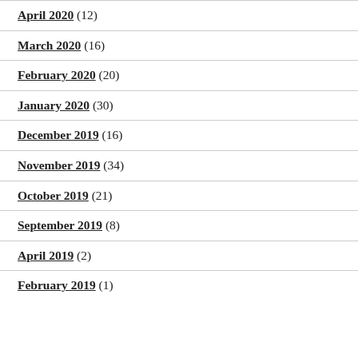April 2020 (12)
March 2020 (16)
February 2020 (20)
January 2020 (30)
December 2019 (16)
November 2019 (34)
October 2019 (21)
September 2019 (8)
April 2019 (2)
February 2019 (1)